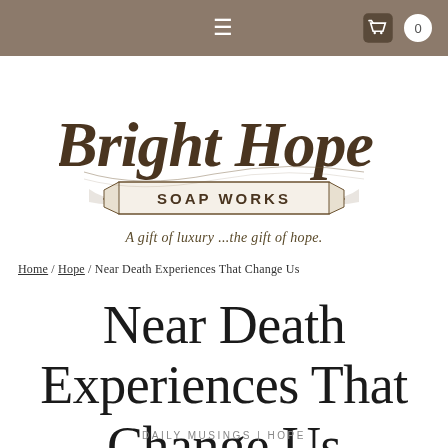≡  [cart icon] 0
[Figure (logo): Bright Hope Soap Works logo with decorative script lettering and banner ribbon]
A gift of luxury ...the gift of hope.
Home / Hope / Near Death Experiences That Change Us
Near Death Experiences That Change Us
DAILY MUSINGS | HOPE